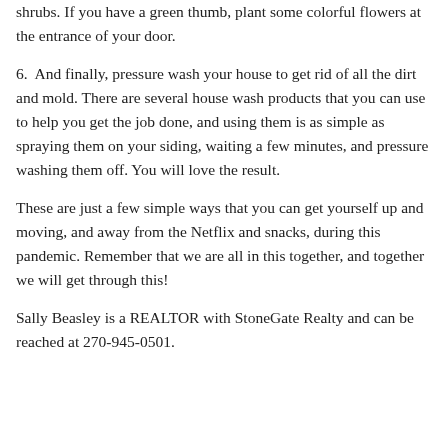shrubs. If you have a green thumb, plant some colorful flowers at the entrance of your door.
6.  And finally, pressure wash your house to get rid of all the dirt and mold. There are several house wash products that you can use to help you get the job done, and using them is as simple as spraying them on your siding, waiting a few minutes, and pressure washing them off. You will love the result.
These are just a few simple ways that you can get yourself up and moving, and away from the Netflix and snacks, during this pandemic. Remember that we are all in this together, and together we will get through this!
Sally Beasley is a REALTOR with StoneGate Realty and can be reached at 270-945-0501.